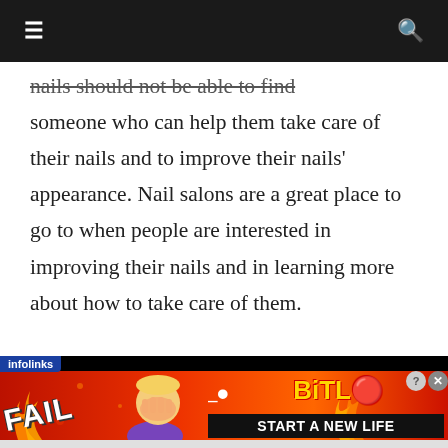≡  🔍
nails should not be able to find someone who can help them take care of their nails and to improve their nails' appearance. Nail salons are a great place to go to when people are interested in improving their nails and in learning more about how to take care of them.
[Figure (screenshot): infolinks advertisement banner for BitLife game — shows 'FAIL' text, cartoon character facepalming, flame graphic, BitLife logo in yellow, and 'START A NEW LIFE' text on black background with red/fire background.]